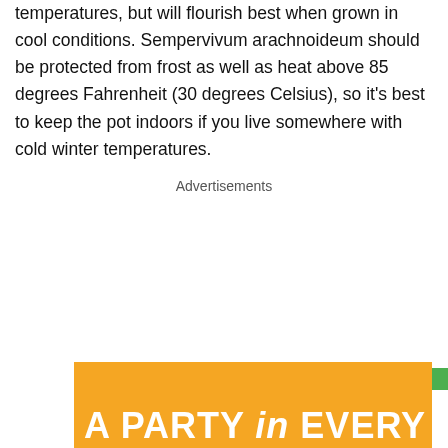temperatures, but will flourish best when grown in cool conditions. Sempervivum arachnoideum should be protected from frost as well as heat above 85 degrees Fahrenheit (30 degrees Celsius), so it's best to keep the pot indoors if you live somewhere with cold winter temperatures.
Advertisements
[Figure (other): Orange advertisement banner with white bold text reading 'A PARTY in EVERY' partially visible at the bottom of the page, with ad controls (play icon, X button) and a green button in the top-right corner.]